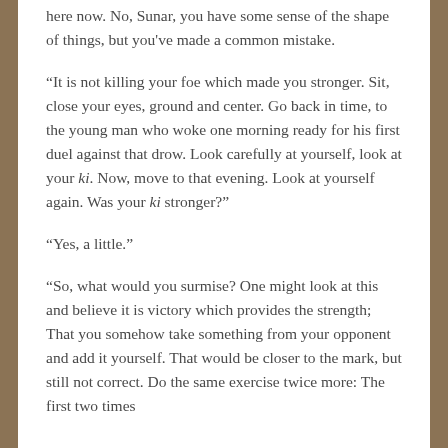here now. No, Sunar, you have some sense of the shape of things, but you've made a common mistake.
“It is not killing your foe which made you stronger. Sit, close your eyes, ground and center. Go back in time, to the young man who woke one morning ready for his first duel against that drow. Look carefully at yourself, look at your ki. Now, move to that evening. Look at yourself again. Was your ki stronger?”
“Yes, a little.”
“So, what would you surmise? One might look at this and believe it is victory which provides the strength; That you somehow take something from your opponent and add it yourself. That would be closer to the mark, but still not correct. Do the same exercise twice more: The first two times